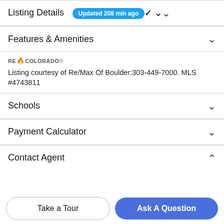Listing Details Updated 208 min ago
Features & Amenities
[Figure (logo): RE/Colorado MLS logo with flame icon]
Listing courtesy of Re/Max Of Boulder:303-449-7000. MLS #4743811
Schools
Payment Calculator
Contact Agent
Take a Tour
Ask A Question